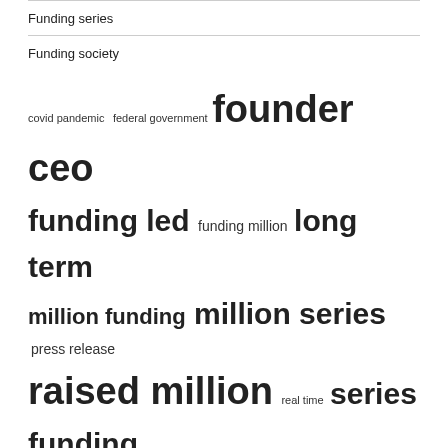Funding series
Funding society
[Figure (other): Tag cloud with terms: covid pandemic, federal government, founder ceo, funding led, funding million, long term, million funding, million series, press release, raised million, real time, series funding, today announced, united states, venture capital]
RECENT POSTS
After the pandemic, more than a quarter of American lenders are preparing for less risky online payday loans.
Samtec Cares awards $675,000 in funding.